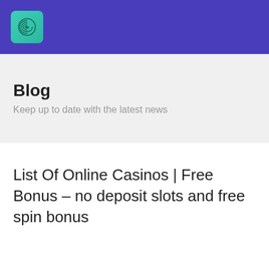[Figure (logo): Fingerprint icon logo on purple header bar]
Blog
Keep up to date with the latest news
List Of Online Casinos | Free Bonus – no deposit slots and free spin bonus